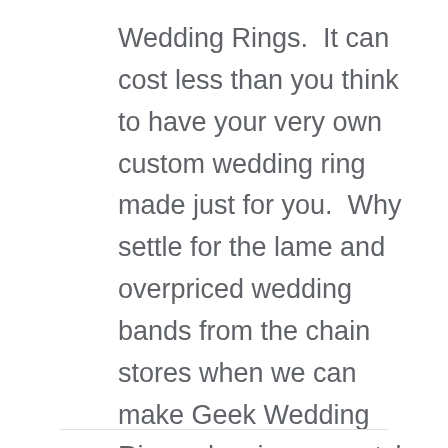Wedding Rings.  It can cost less than you think to have your very own custom wedding ring made just for you.  Why settle for the lame and overpriced wedding bands from the chain stores when we can make Geek Wedding Rings showing your style and personality?